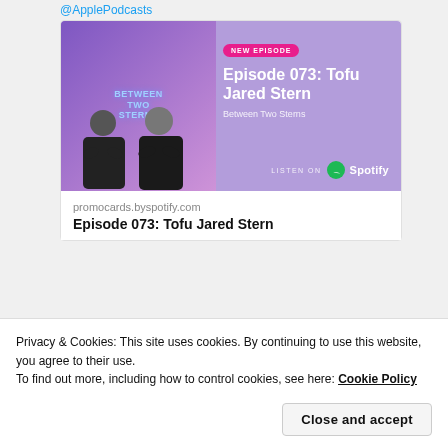@ApplePodcasts
[Figure (screenshot): Spotify promo card for podcast episode 073: Tofu Jared Stern from Between Two Sterns, with purple background, two men with arms crossed, new episode badge, and Listen on Spotify logo]
promocards.byspotify.com
Episode 073: Tofu Jared Stern
Privacy & Cookies: This site uses cookies. By continuing to use this website, you agree to their use.
To find out more, including how to control cookies, see here: Cookie Policy
Close and accept